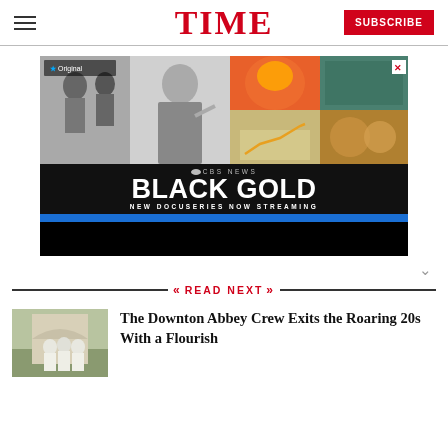TIME — SUBSCRIBE
[Figure (photo): CBS News Black Gold docuseries advertisement banner with photo collage showing documentary subjects, text 'BLACK GOLD NEW DOCUSERIES NOW STREAMING', Paramount Original badge]
READ NEXT
[Figure (photo): Thumbnail image of people in white clothing outdoors, related to Downton Abbey movie]
The Downton Abbey Crew Exits the Roaring 20s With a Flourish